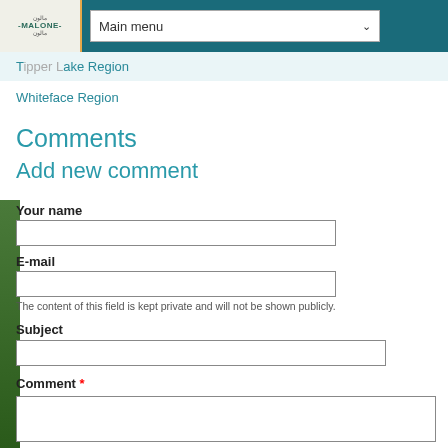Malone - Main menu
Tupper Lake Region
Whiteface Region
Comments
Add new comment
Your name
E-mail
The content of this field is kept private and will not be shown publicly.
Subject
Comment *